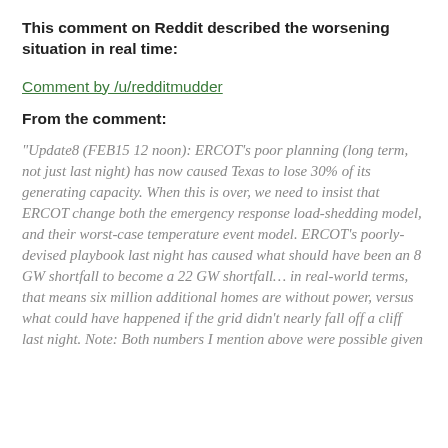This comment on Reddit described the worsening situation in real time:
Comment by /u/redditmudder
From the comment:
“Update8 (FEB15 12 noon): ERCOT’s poor planning (long term, not just last night) has now caused Texas to lose 30% of its generating capacity. When this is over, we need to insist that ERCOT change both the emergency response load-shedding model, and their worst-case temperature event model. ERCOT’s poorly-devised playbook last night has caused what should have been an 8 GW shortfall to become a 22 GW shortfall… in real-world terms, that means six million additional homes are without power, versus what could have happened if the grid didn’t nearly fall off a cliff last night. Note: Both numbers I mention above were possible given